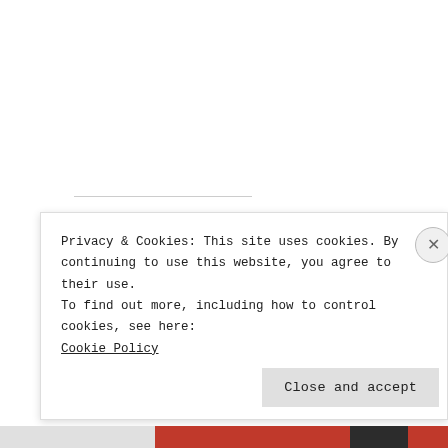Share this:
Twitter  Email  Facebook
Privacy & Cookies: This site uses cookies. By continuing to use this website, you agree to their use.
To find out more, including how to control cookies, see here:
Cookie Policy
Close and accept